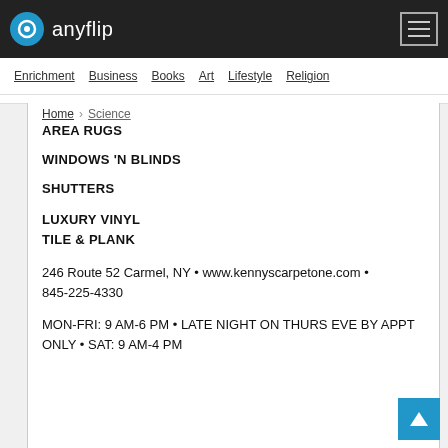anyflip
Enrichment  Business  Books  Art  Lifestyle  Religion
Home > Science
AREA RUGS
WINDOWS 'N BLINDS
SHUTTERS
LUXURY VINYL TILE & PLANK
246 Route 52 Carmel, NY • www.kennyscarpetone.com • 845-225-4330
MON-FRI: 9 AM-6 PM • LATE NIGHT ON THURS EVE BY APPT ONLY • SAT: 9 AM-4 PM